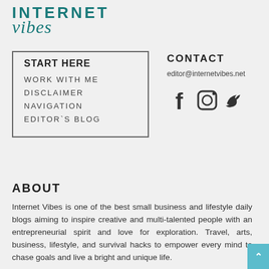[Figure (logo): Internet Vibes logo with INTERNET in bold teal uppercase letters and 'vibes' in teal italic script below]
START HERE
WORK WITH ME
DISCLAIMER
NAVIGATION
EDITOR`S BLOG
CONTACT
editor@internetvibes.net
[Figure (illustration): Social media icons: Facebook, Instagram, Twitter]
ABOUT
Internet Vibes is one of the best small business and lifestyle daily blogs aiming to inspire creative and multi-talented people with an entrepreneurial spirit and love for exploration. Travel, arts, business, lifestyle, and survival hacks to empower every mind to chase goals and live a bright and unique life.